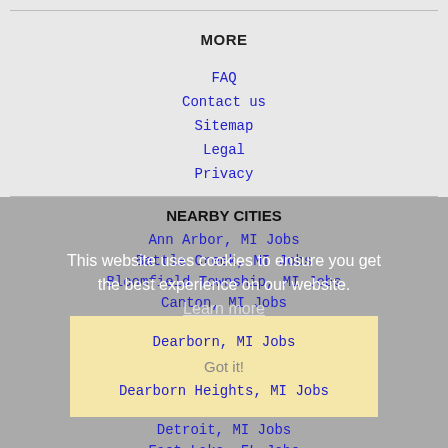MORE
FAQ
Contact us
Sitemap
Legal
Privacy
NEARBY CITIES
Ann Arbor, MI Jobs
Battle Creek, MI Jobs
Bloomfield Township, MI Jobs
Canton, MI Jobs
Dearborn, MI Jobs
Dearborn Heights, MI Jobs
Detroit, MI Jobs
East Lake, FL Jobs
This website uses cookies to ensure you get the best experience on our website. Learn more
Got it!